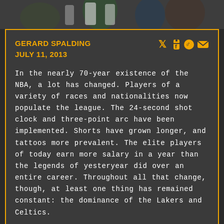[Figure (photo): Basketball game action photo strip showing players in green Celtics uniforms and purple Lakers uniforms]
GERARD SPALDING
JULY 11, 2013
In the nearly 70-year existence of the NBA, a lot has changed. Players of a variety of races and nationalities now populate the league. The 24-second shot clock and three-point arc have been implemented. Shorts have grown longer, and tattoos more prevalent. The elite players of today earn more salary in a year than the legends of yesteryear did over an entire career. Throughout all that change, though, at least one thing has remained constant: the dominance of the Lakers and Celtics.
BASKETBALL